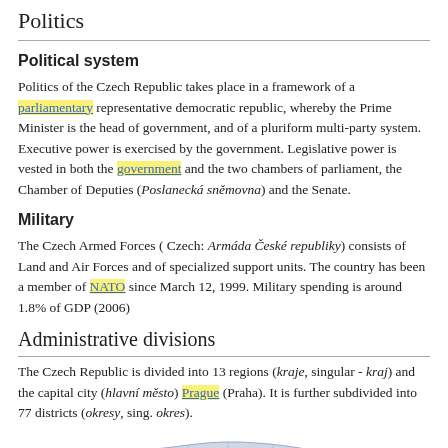Politics
Political system
Politics of the Czech Republic takes place in a framework of a parliamentary representative democratic republic, whereby the Prime Minister is the head of government, and of a pluriform multi-party system. Executive power is exercised by the government. Legislative power is vested in both the government and the two chambers of parliament, the Chamber of Deputies (Poslanecká sněmovna) and the Senate.
Military
The Czech Armed Forces ( Czech: Armáda České republiky) consists of Land and Air Forces and of specialized support units. The country has been a member of NATO since March 12, 1999. Military spending is around 1.8% of GDP (2006)
Administrative divisions
The Czech Republic is divided into 13 regions (kraje, singular - kraj) and the capital city (hlavní město) Prague (Praha). It is further subdivided into 77 districts (okresy, sing. okres).
[Figure (map): Partial map of Czech Republic administrative regions showing divisions with labels including L, U, H]